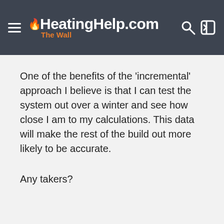HeatingHelp.com — The Wall
One of the benefits of the 'incremental' approach I believe is that I can test the system out over a winter and see how close I am to my calculations. This data will make the rest of the build out more likely to be accurate.
Any takers?